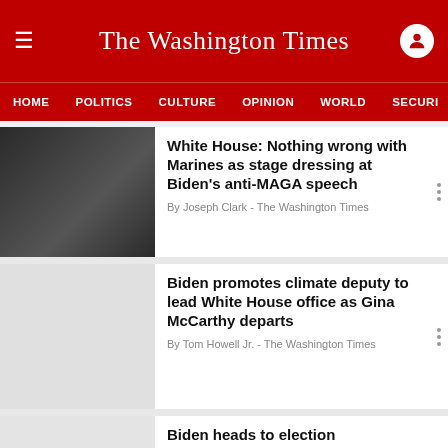The Washington Times
HOME  POLITICS  CULTURE  OPINION  WORLD  SECURITY
White House: Nothing wrong with Marines as stage dressing at Biden's anti-MAGA speech
By Joseph Clark - The Washington Times
Biden promotes climate deputy to lead White House office as Gina McCarthy departs
By Tom Howell Jr. - The Washington Times
Biden heads to election battlegrounds Wisconsin, Pennsylvania for Labor Day
By Joseph Clark - The Washington Times